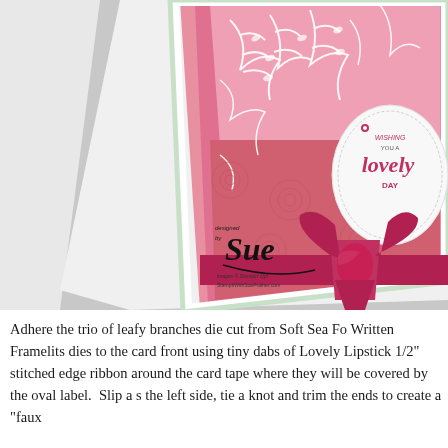[Figure (photo): Close-up photograph of a handmade greeting card featuring pink patterned paper with white leafy branch die cuts, a white oval label with 'Wishing You a Lovely Day' text, and a deep pink/magenta ribbon tied in a knot bow. A designer signature reading 'designed by Sue, images © Stampin' Up!, StampItWithSuePrather.com' overlays the bottom-left area of the photo.]
Adhere the trio of leafy branches die cut from Soft Sea Fo Written Framelits dies to the card front using tiny dabs of Lovely Lipstick 1/2" stitched edge ribbon around the card tape where they will be covered by the oval label.  Slip a s the left side, tie a knot and trim the ends to create a "faux